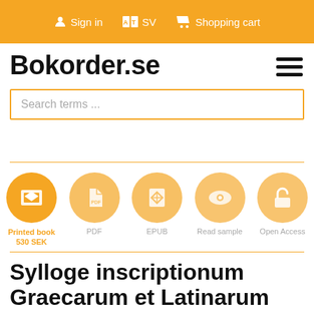Sign in  SV  Shopping cart
Bokorder.se
Search terms ...
[Figure (infographic): Five circular orange icons for format selection: Printed book (530 SEK), PDF, EPUB, Read sample, Open Access]
Printed book 530 SEK  PDF  EPUB  Read sample  Open Access
Sylloge inscriptionum Graecarum et Latinarum